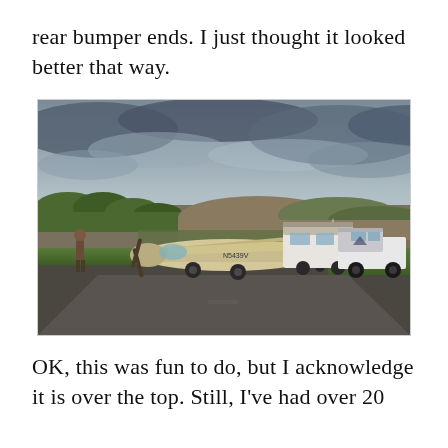rear bumper ends. I just thought it looked better that way.
[Figure (photo): A small single-engine Cessna airplane parked on a rural airstrip tarmac beside a white pickup truck with a camper shell and mountain graphics wrap, and a van in the background. A person stands near the plane's propeller. The sky is overcast with dramatic clouds. Green trees and hills are visible in the background.]
OK, this was fun to do, but I acknowledge it is over the top. Still, I've had over 20